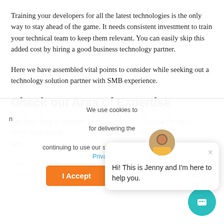Training your developers for all the latest technologies is the only way to stay ahead of the game. It needs consistent investment to train your technical team to keep them relevant. You can easily skip this added cost by hiring a good business technology partner.
Here we have assembled vital points to consider while seeking out a technology solution partner with SMB experience.
Check out Area of Expertise
The first thing to consider in the quest finding the right technology partner... offer. It is important bec...
We use cookies to ... for delivering the ... continuing to use our site, you agree to accept our Privacy Policy